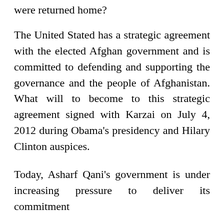were returned home?
The United Stated has a strategic agreement with the elected Afghan government and is committed to defending and supporting the governance and the people of Afghanistan. What will to become to this strategic agreement signed with Karzai on July 4, 2012 during Obama's presidency and Hilary Clinton auspices.
Today, Asharf Qani's government is under increasing pressure to deliver its commitment